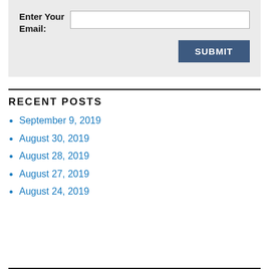[Figure (screenshot): Email input form area with label 'Enter Your Email:', a text input field, and a SUBMIT button on a light gray background.]
RECENT POSTS
September 9, 2019
August 30, 2019
August 28, 2019
August 27, 2019
August 24, 2019